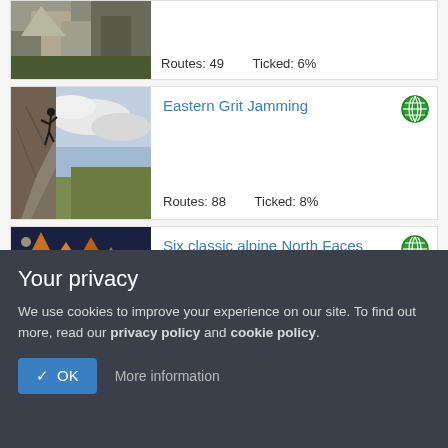[Figure (photo): Rock face climbing photo (partial card at top)]
Routes: 49    Ticked: 6%
[Figure (photo): Climber on overhanging grit crag with cloudy sky]
Eastern Grit Jamming
Routes: 88    Ticked: 8%
[Figure (photo): Golden alpine rock towers at dusk]
Six classic alpine North Faces
Your privacy
We use cookies to improve your experience on our site. To find out more, read our privacy policy and cookie policy.
✓ OK    More information